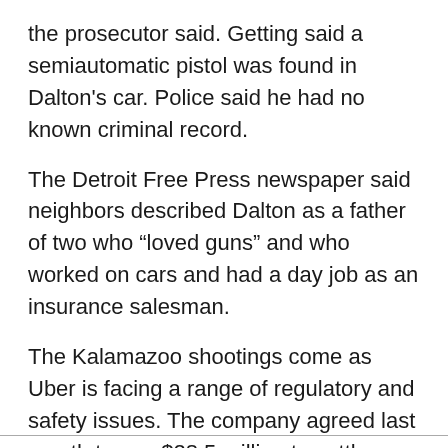the prosecutor said. Getting said a semiautomatic pistol was found in Dalton's car. Police said he had no known criminal record.
The Detroit Free Press newspaper said neighbors described Dalton as a father of two who “loved guns” and who worked on cars and had a day job as an insurance salesman.
The Kalamazoo shootings come as Uber is facing a range of regulatory and safety issues. The company agreed last month to pay $28.5 million to settle federal litigation brought by customers who alleged the service misrepresented the quality of its safety practices and fees.
— Phuket Gazette Editors